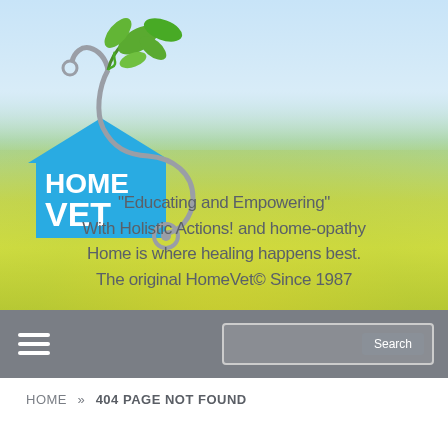[Figure (logo): HomeVet logo with stethoscope forming a tree with green leaves above a blue house shape with HOME VET text]
"Educating and Empowering"
With Holistic Actions! and home-opathy
Home is where healing happens best.
The original HomeVet© Since 1987
[Figure (screenshot): Navigation bar with hamburger menu icon on left and search box on right]
HOME » 404 PAGE NOT FOUND